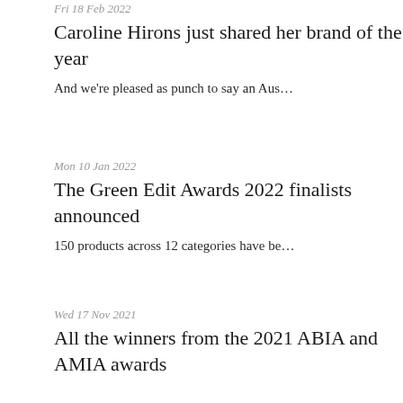Fri 18 Feb 2022
Caroline Hirons just shared her brand of the year
And we're pleased as punch to say an Aus…
Mon 10 Jan 2022
The Green Edit Awards 2022 finalists announced
150 products across 12 categories have be…
Wed 17 Nov 2021
All the winners from the 2021 ABIA and AMIA awards